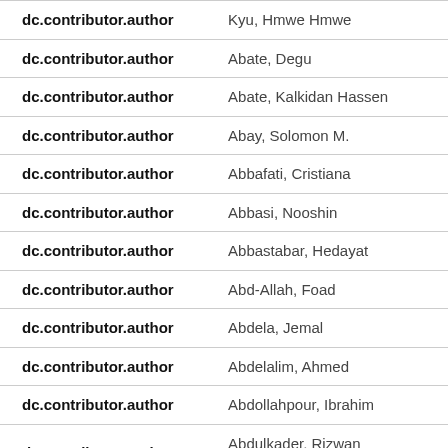| Field | Value |
| --- | --- |
| dc.contributor.author | Kyu, Hmwe Hmwe |
| dc.contributor.author | Abate, Degu |
| dc.contributor.author | Abate, Kalkidan Hassen |
| dc.contributor.author | Abay, Solomon M. |
| dc.contributor.author | Abbafati, Cristiana |
| dc.contributor.author | Abbasi, Nooshin |
| dc.contributor.author | Abbastabar, Hedayat |
| dc.contributor.author | Abd-Allah, Foad |
| dc.contributor.author | Abdela, Jemal |
| dc.contributor.author | Abdelalim, Ahmed |
| dc.contributor.author | Abdollahpour, Ibrahim |
| dc.contributor.author | Abdulkader, Rizwan Suliankatchi |